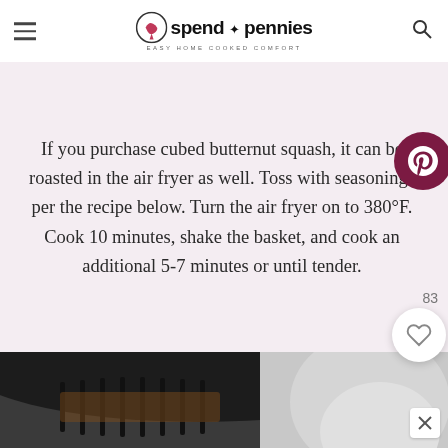spend with pennies — EASY HOME COOKED COMFORT
If you purchase cubed butternut squash, it can be roasted in the air fryer as well. Toss with seasonings per the recipe below. Turn the air fryer on to 380°F. Cook 10 minutes, shake the basket, and cook an additional 5-7 minutes or until tender.
[Figure (photo): Close-up of an air fryer basket showing interior grill/cooking elements, partially visible with dark coloring]
[Figure (photo): Bottom portion of the page showing a blurred/cropped photo, possibly food on a white surface]